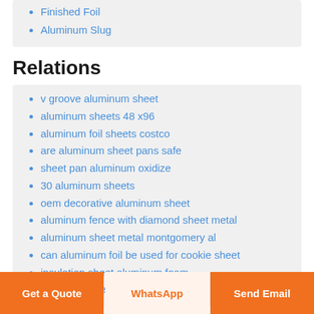Finished Foil
Aluminum Slug
Relations
v groove aluminum sheet
aluminum sheets 48 x96
aluminum foil sheets costco
are aluminum sheet pans safe
sheet pan aluminum oxidize
30 aluminum sheets
oem decorative aluminum sheet
aluminum fence with diamond sheet metal
aluminum sheet metal montgomery al
can aluminum foil be used for cookie sheet
insulation sheet aluminum foam
aluminum sheet roofing materials
Get a Quote | WhatsApp | Send Email